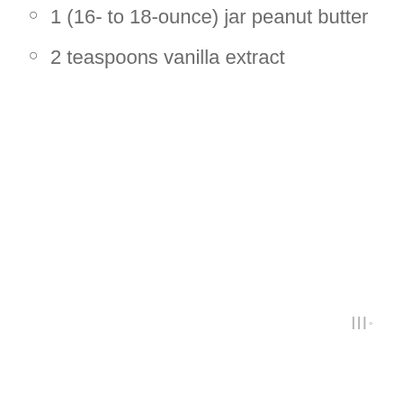1 (16- to 18-ounce) jar peanut butter
2 teaspoons vanilla extract